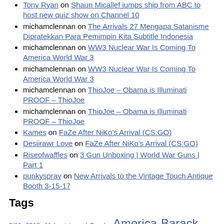Tony Ryan on Shaun Micallef jumps ship from ABC to host new quiz show on Channel 10
michamclennan on The Arrivals 27 Mengapa Satanisme Dipratekkan Para Pemimpin Kita Subtitle Indonesia
michamclennan on WW3 Nuclear War Is Coming To America World War 3
michamclennan on WW3 Nuclear War Is Coming To America World War 3
michamclennan on ThioJoe – Obama is Illuminati PROOF – ThioJoe
michamclennan on ThioJoe – Obama is Illuminati PROOF – ThioJoe
Kames on FaZe After NiKo's Arrival (CS:GO)
Desiirawr Love on FaZe After NiKo's Arrival (CS:GO)
Riseofwaffles on 3 Gun Unboxing | World War Guns | Part 1
punkyspray on New Arrivals to the Vintage Touch Antique Booth 3-15-17
Tags
9/11 2012 Afghanistan al-Qaeda America Barack Obama China CIA Dajjal Dajjal Illuminati Doomsday economic collapse economic crisis evidence false flag false flag operation false flag terror Illuminati Dajjal illuminati documentary Iran Israel Latest News